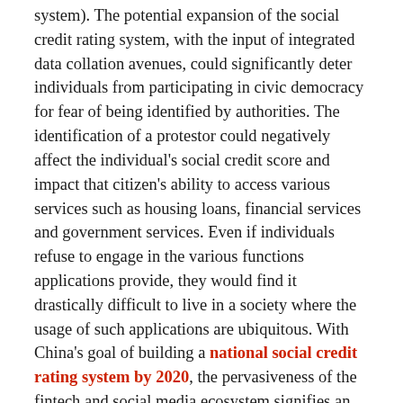system). The potential expansion of the social credit rating system, with the input of integrated data collation avenues, could significantly deter individuals from participating in civic democracy for fear of being identified by authorities. The identification of a protestor could negatively affect the individual's social credit score and impact that citizen's ability to access various services such as housing loans, financial services and government services. Even if individuals refuse to engage in the various functions applications provide, they would find it drastically difficult to live in a society where the usage of such applications are ubiquitous. With China's goal of building a national social credit rating system by 2020, the pervasiveness of the fintech and social media ecosystem signifies an increase in opportunities for surveillance and the potential for the erosion of privacy for individuals.
The potential of blockchain-based technologies has